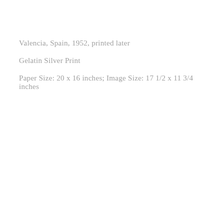Valencia,  Spain,  1952,  printed later
Gelatin  Silver  Print
Paper  Size:  20  x  16  inches;  Image  Size:  17  1/2  x  11  3/4  inches